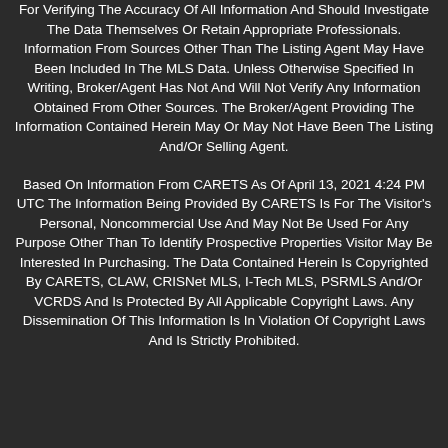For Verifying The Accuracy Of All Information And Should Investigate The Data Themselves Or Retain Appropriate Professionals. Information From Sources Other Than The Listing Agent May Have Been Included In The MLS Data. Unless Otherwise Specified In Writing, Broker/Agent Has Not And Will Not Verify Any Information Obtained From Other Sources. The Broker/Agent Providing The Information Contained Herein May Or May Not Have Been The Listing And/Or Selling Agent.
Based On Information From CARETS As Of April 13, 2021 4:24 PM UTC The Information Being Provided By CARETS Is For The Visitor's Personal, Noncommercial Use And May Not Be Used For Any Purpose Other Than To Identify Prospective Properties Visitor May Be Interested In Purchasing. The Data Contained Herein Is Copyrighted By CARETS, CLAW, CRISNet MLS, I-Tech MLS, PSRMLS And/Or VCRDS And Is Protected By All Applicable Copyright Laws. Any Dissemination Of This Information Is In Violation Of Copyright Laws And Is Strictly Prohibited.